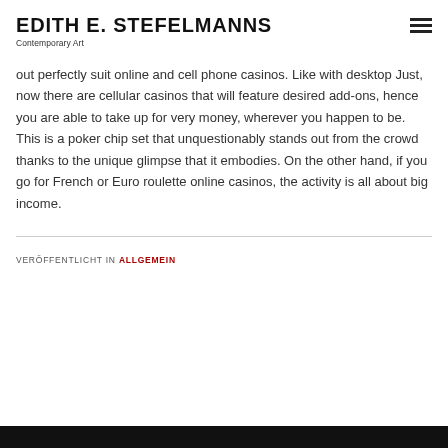EDITH E. STEFELMANNS
Contemporary Art
out perfectly suit online and cell phone casinos. Like with desktop Just, now there are cellular casinos that will feature desired add-ons, hence you are able to take up for very money, wherever you happen to be. This is a poker chip set that unquestionably stands out from the crowd thanks to the unique glimpse that it embodies. On the other hand, if you go for French or Euro roulette online casinos, the activity is all about big income.
VERÖFFENTLICHT IN ALLGEMEIN